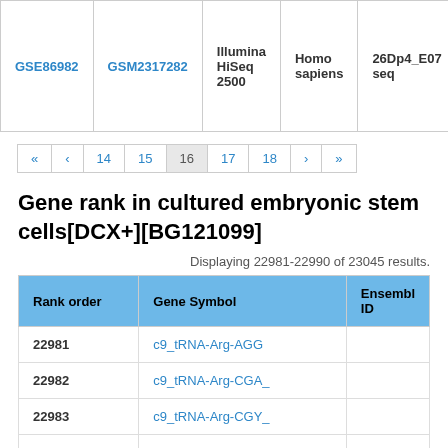|  |  | Illumina HiSeq 2500 | Homo sapiens | 26Dp4_E07 seq |
| --- | --- | --- | --- | --- |
| GSE86982 | GSM2317282 | Illumina HiSeq 2500 | Homo sapiens | 26Dp4_E07 seq |
« ‹ 14 15 16 17 18 › »
Gene rank in cultured embryonic stem cells[DCX+][BG121099]
Displaying 22981-22990 of 23045 results.
| Rank order | Gene Symbol | Ensembl ID |
| --- | --- | --- |
| 22981 | c9_tRNA-Arg-AGG |  |
| 22982 | c9_tRNA-Arg-CGA_ |  |
| 22983 | c9_tRNA-Arg-CGY_ |  |
| 22984 | c9_tRNA-Asp-GAY_ |  |